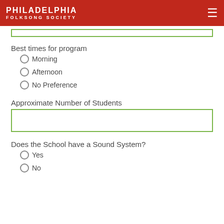Philadelphia Folksong Society
Best times for program
Morning
Afternoon
No Preference
Approximate Number of Students
Does the School have a Sound System?
Yes
No